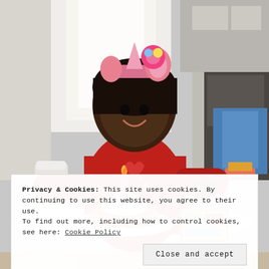[Figure (photo): A young girl wearing a unicorn headband sits at a white table with a stack of pancakes topped with whipped cream and a pink number-6 candle that is lit. She is smiling and wearing a red long-sleeve shirt. A colorful book and a blue gift bag are visible in the background.]
Privacy & Cookies: This site uses cookies. By continuing to use this website, you agree to their use.
To find out more, including how to control cookies, see here: Cookie Policy
Close and accept